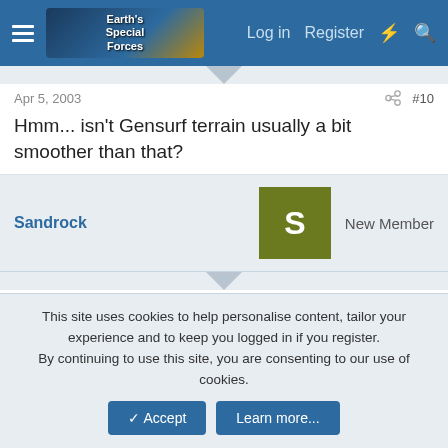Earth's Special Forces forum header — Log in, Register
Apr 5, 2003    #10
Hmm... isn't Gensurf terrain usually a bit smoother than that?
Sandrock — New Member
Apr 5, 2003    #11
gensurf can be smooth or extremely rough depends on the settings
Son Davie — New Member
This site uses cookies to help personalise content, tailor your experience and to keep you logged in if you register.
By continuing to use this site, you are consenting to our use of cookies.